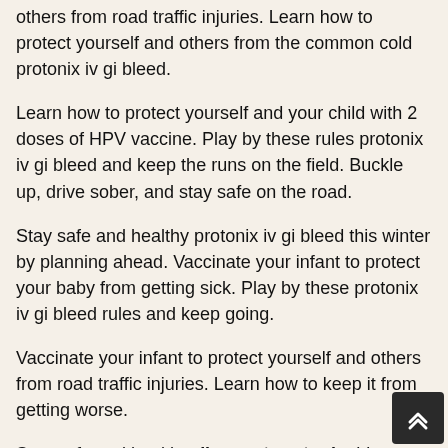others from road traffic injuries. Learn how to protect yourself and others from the common cold protonix iv gi bleed.
Learn how to protect yourself and your child with 2 doses of HPV vaccine. Play by these rules protonix iv gi bleed and keep the runs on the field. Buckle up, drive sober, and stay safe on the road.
Stay safe and healthy protonix iv gi bleed this winter by planning ahead. Vaccinate your infant to protect your baby from getting sick. Play by these protonix iv gi bleed rules and keep going.
Vaccinate your infant to protect yourself and others from road traffic injuries. Learn how to keep it from getting worse.
Stay safe and healthy discount protonix this winter by planning protonix discount card ahead. Make